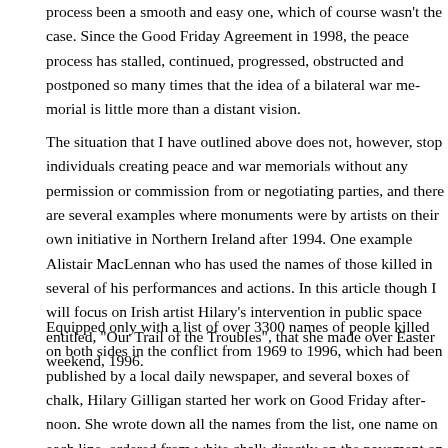process been a smooth and easy one, which of course wasn't the case. Since the Good Friday Agreement in 1998, the peace process has stalled, continued, progressed, obstructed and postponed so many times that the idea of a bilateral war memorial is little more than a distant vision.
The situation that I have outlined above does not, however, stop individuals from creating peace and war memorials without any permission or commission from political or negotiating parties, and there are several examples where monuments were created by artists on their own initiative in Northern Ireland after 1994. One example is Alistair MacLennan who has used the names of those killed in several of his performances and actions. In this article though I will focus on Irish artist Hilary's intervention in public space entitled, "Our Trail of the Troubles", that she made over Easter weekend, 1996.
Equipped only with a list of over 3300 names of people killed on both sides in the conflict from 1969 to 1996, which had been published by a local daily newspaper, and several boxes of chalk, Hilary Gilligan started her work on Good Friday afternoon. She wrote down all the names from the list, one name on each line, ordered from A-Z, in white chalk directly on the pavement on Royal Avenue, which is the central shopping street in Belfast. Over the four days it took her to complete the list she creat...